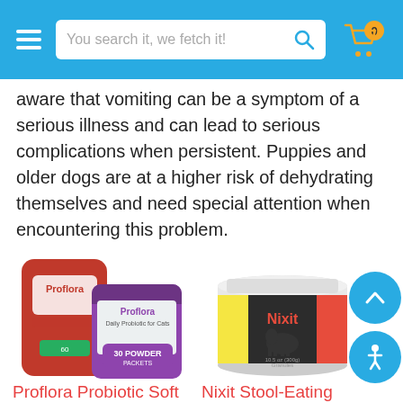You search it, we fetch it!
aware that vomiting can be a symptom of a serious illness and can lead to serious complications when persistent. Puppies and older dogs are at a higher risk of dehydrating themselves and need special attention when encountering this problem.
[Figure (photo): Proflora Probiotic product packages - a red bag and a purple/white box labeled Proflora Daily Probiotic for Cats, 30 powder packets]
Proflora Probiotic Soft Chews
Diarrhea
[Figure (photo): Nixit Stool-Eating Preventative product - a white jar with yellow and black label featuring a dog silhouette, 10.5 oz (300g) Granules]
Nixit Stool-Eating
Preventative